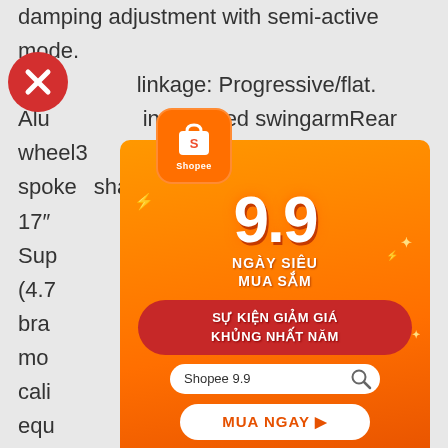damping adjustment with semi-active mode. Adjustable linkage: Progressive/flat. Aluminium single-sided swingarmRear wheel3 spoke shape forged light alloy 6.00" x 17" Superbike (4.7...) front brake ... monobloc caliper ... equipped ... caliper ... equipped ... TFT ... Dimensions and weightDry weight166.5kg
[Figure (screenshot): Shopee 9.9 advertisement overlay popup with orange gradient background. Shows Shopee logo (shopping bag icon), large '9.9' text, 'NGAY SIEU MUA SAM' subtitle, red button 'SU KIEN GIAM GIA KHUNG NHAT NAM', search bar 'Shopee 9.9', and 'MUA NGAY' call-to-action button. Red circle with white X close button in top-left corner.]